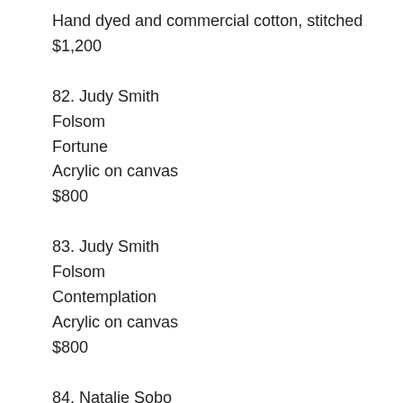Hand dyed and commercial cotton, stitched
$1,200
82. Judy Smith
Folsom
Fortune
Acrylic on canvas
$800
83. Judy Smith
Folsom
Contemplation
Acrylic on canvas
$800
84. Natalie Sobo
Toronto ON, Canada
Rush of Gloves / Waiting for Love